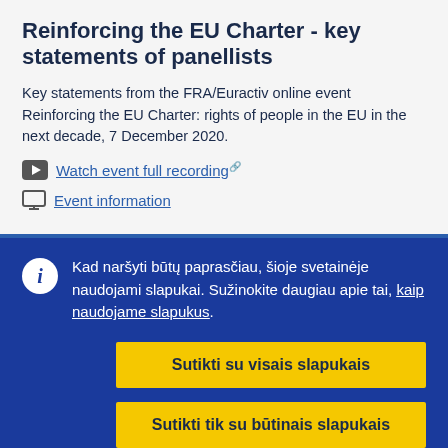Reinforcing the EU Charter - key statements of panellists
Key statements from the FRA/Euractiv online event Reinforcing the EU Charter: rights of people in the EU in the next decade, 7 December 2020.
Watch event full recording
Event information
Kad naršyti būtų paprasčiau, šioje svetainėje naudojami slapukai. Sužinokite daugiau apie tai, kaip naudojame slapukus.
Sutikti su visais slapukais
Sutikti tik su būtinais slapukais